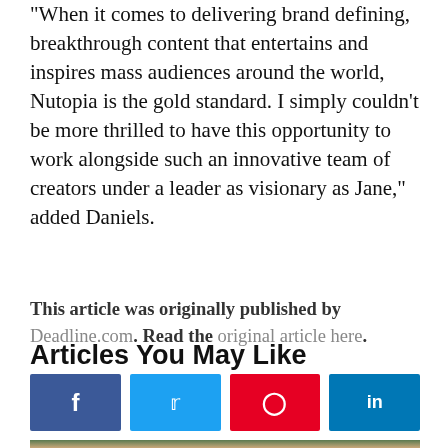“When it comes to delivering brand defining, breakthrough content that entertains and inspires mass audiences around the world, Nutopia is the gold standard. I simply couldn’t be more thrilled to have this opportunity to work alongside such an innovative team of creators under a leader as visionary as Jane,” added Daniels.
This article was originally published by Deadline.com. Read the original article here.
[Figure (infographic): Social sharing buttons row: Facebook (dark blue), Twitter (light blue), Pinterest (red), LinkedIn (dark cyan blue)]
Articles You May Like
[Figure (photo): Partial photo of a person visible at the bottom of the page]